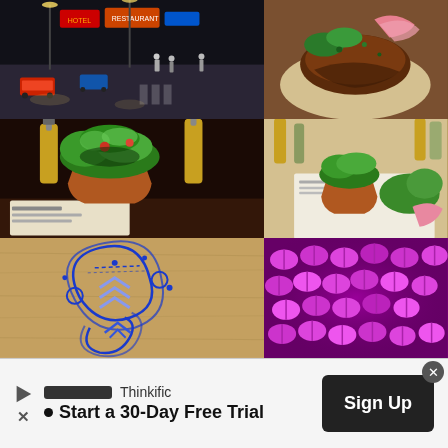[Figure (photo): Night street scene with cars and pedestrians at a busy intersection with neon signs]
[Figure (photo): Close-up of a food plate with meat and garnish]
[Figure (photo): Salad served in a terracotta pot with wine bottles in background]
[Figure (photo): Small terracotta pot with salad on a white paper/menu surface]
[Figure (photo): Blue ink doodle art pattern with chevrons and swirls on a wooden surface]
[Figure (photo): Pink/purple capsule pills lit under purple/UV lighting]
Thinkific
Start a 30-Day Free Trial
Sign Up